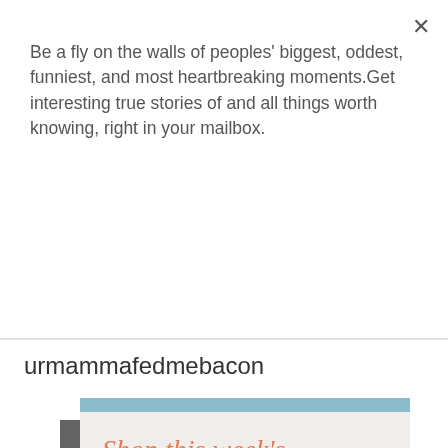Be a fly on the walls of peoples' biggest, oddest, funniest, and most heartbreaking moments.Get interesting true stories of and all things worth knowing, right in your mailbox.
Subscribe
urmammafedmebacon
[Figure (illustration): A card or advertisement image with a light teal top bar and cursive orange text reading 'Shop this week's' on a light beige/cream textured background.]